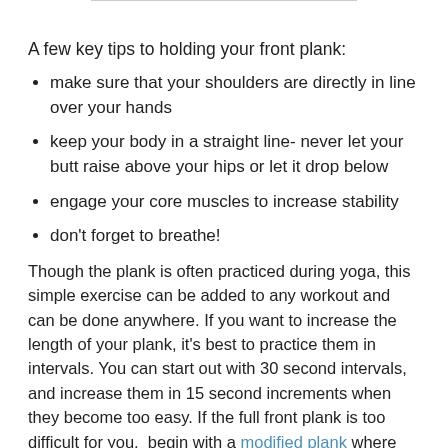A few key tips to holding your front plank:
make sure that your shoulders are directly in line over your hands
keep your body in a straight line- never let your butt raise above your hips or let it drop below
engage your core muscles to increase stability
don't forget to breathe!
Though the plank is often practiced during yoga, this simple exercise can be added to any workout and can be done anywhere. If you want to increase the length of your plank, it's best to practice them in intervals. You can start out with 30 second intervals, and increase them in 15 second increments when they become too easy. If the full front plank is too difficult for you,  begin with a modified plank where you keep your knees on the ground, and then you can slowly work your way up to your feet.